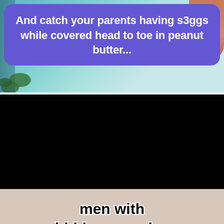[Figure (screenshot): Top social media video screenshot with purple speech bubble overlay on a teal/beach background with a hand visible. Bubble text reads: 'And catch your parents having s3ggs while covered head to toe in peanut butter...']
[Figure (screenshot): Bottom social media video screenshot showing a brown bear stuffed animal/figure from behind on a light pinkish-beige background, with a white play button icon overlay. Text overlay reads: 'men with hidden agendas']